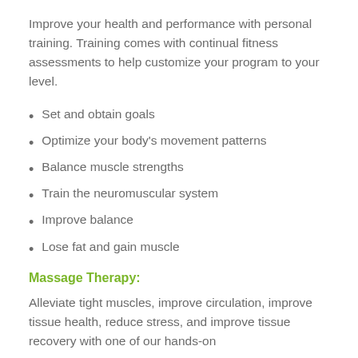Improve your health and performance with personal training. Training comes with continual fitness assessments to help customize your program to your level.
Set and obtain goals
Optimize your body's movement patterns
Balance muscle strengths
Train the neuromuscular system
Improve balance
Lose fat and gain muscle
Massage Therapy:
Alleviate tight muscles, improve circulation, improve tissue health, reduce stress, and improve tissue recovery with one of our hands-on...